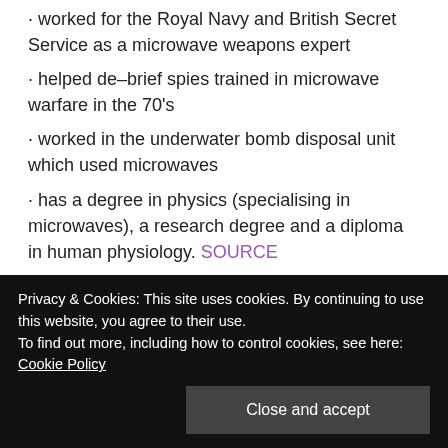· worked for the Royal Navy and British Secret Service as a microwave weapons expert
· helped de-brief spies trained in microwave warfare in the 70's
· worked in the underwater bomb disposal unit which used microwaves
· has a degree in physics (specialising in microwaves), a research degree and a diploma in human physiology. SOURCE
Mark Steele
And about Mark Steele, he is a technical weapons
Privacy & Cookies: This site uses cookies. By continuing to use this website, you agree to their use.
To find out more, including how to control cookies, see here: Cookie Policy